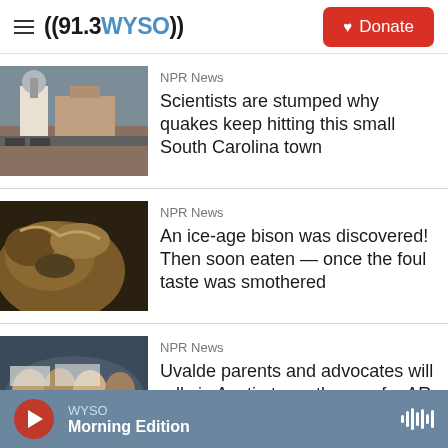((91.3 WYSO)) Donate
[Figure (photo): Photo of a small South Carolina town with a water tower and industrial building]
NPR News
Scientists are stumped why quakes keep hitting this small South Carolina town
[Figure (photo): Close-up photo of an ice-age bison head]
NPR News
An ice-age bison was discovered! Then soon eaten — once the foul taste was smothered
[Figure (photo): Photo of crowd of protesters at a rally]
NPR News
Uvalde parents and advocates will rally in Austin to up the age for AR-15
WYSO Morning Edition